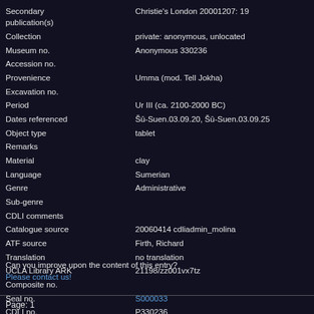| Field | Value |
| --- | --- |
| Secondary publication(s) | Christie's London 20001207: 19 |
| Collection | private: anonymous, unlocated |
| Museum no. | Anonymous 330236 |
| Accession no. |  |
| Provenience | Umma (mod. Tell Jokha) |
| Excavation no. |  |
| Period | Ur III (ca. 2100-2000 BC) |
| Dates referenced | Šū-Suen.03.09.20, Šū-Suen.03.09.25 |
| Object type | tablet |
| Remarks |  |
| Material | clay |
| Language | Sumerian |
| Genre | Administrative |
| Sub-genre |  |
| CDLI comments |  |
| Catalogue source | 20060414 cdliadmin_molina |
| ATF source | Firth, Richard |
| Translation | no translation |
| UCLA Library ARK | 21198/zz001vx7tz |
| Composite no. |  |
| Seal no. | S000033 |
| CDLI no. | P330236 |
Can you improve upon the content of this entry?
Please contact us!
Page: 1